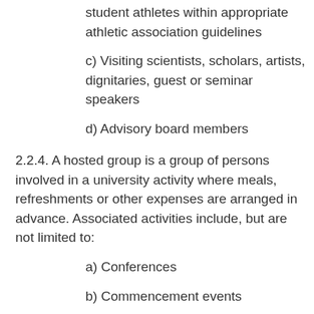student athletes within appropriate athletic association guidelines
c) Visiting scientists, scholars, artists, dignitaries, guest or seminar speakers
d) Advisory board members
2.2.4. A hosted group is a group of persons involved in a university activity where meals, refreshments or other expenses are arranged in advance. Associated activities include, but are not limited to:
a) Conferences
b) Commencement events
c) Community and/or alumni...